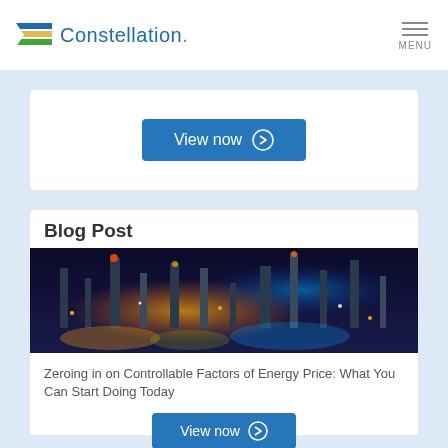Constellation. MENU
[Figure (other): View now button with right arrow circle icon on blue background]
Blog Post
[Figure (photo): Night aerial view of an industrial energy refinery with lights and towers]
Zeroing in on Controllable Factors of Energy Price: What You Can Start Doing Today
[Figure (other): View now button with right arrow circle icon on blue background]